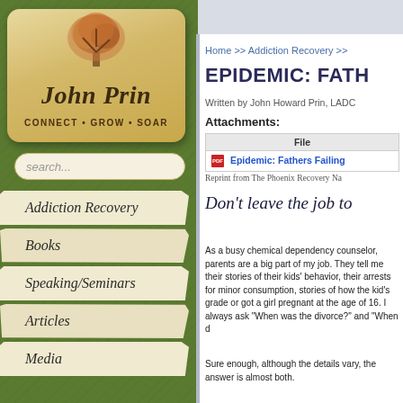[Figure (screenshot): John Prin website screenshot showing logo with tree image, tagline CONNECT GROW SOAR, navigation menu with Addiction Recovery, Books, Speaking/Seminars, Articles, Media on green textured background, and right panel showing article page with breadcrumb, title EPIDEMIC: FATH..., author, attachments table, and article text beginning Don't leave the job to... and body text about chemical dependency counseling.]
John Prin – CONNECT • GROW • SOAR
Addiction Recovery
Books
Speaking/Seminars
Articles
Media
Home >> Addiction Recovery >>
EPIDEMIC: FATH
Written by John Howard Prin, LADC
Attachments:
| File |
| --- |
| Epidemic: Fathers Failing... |
Reprint from The Phoenix Recovery Na
Don't leave the job to
As a busy chemical dependency counselor, parents are a big part of my job. They tell me their stories of their kids' behavior, their arrests for minor consumption, stories of how the kid's grade or got a girl pregnant at the age of 16. I always ask "When was the divorce?" and "When d
Sure enough, although the details vary, the answer is almost both.